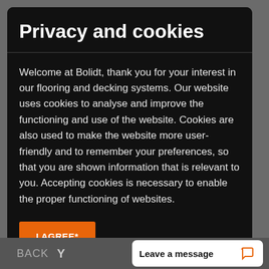Privacy and cookies
Welcome at Bolidt, thank you for your interest in our flooring and decking systems. Our website uses cookies to analyse and improve the functioning and use of the website. Cookies are also used to make the website more user-friendly and to remember your preferences, so that you are shown information that is relevant to you. Accepting cookies is necessary to enable the proper functioning of websites.
*) By clicking "I agree", you agree to our General Terms and Conditions, our Disclaimer and our Privacy and Cookie Statement.
BACK  Y  |  Leave a message